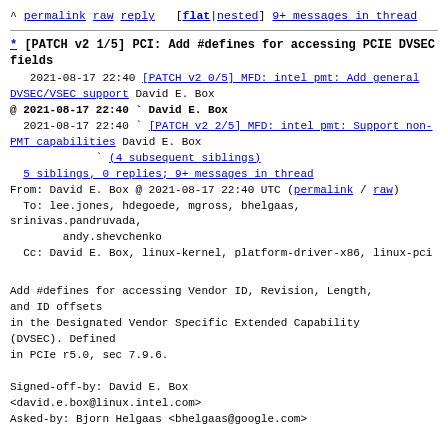^ permalink raw reply [flat|nested] 9+ messages in thread
* [PATCH v2 1/5] PCI: Add #defines for accessing PCIE DVSEC fields
2021-08-17 22:40 [PATCH v2 0/5] MFD: intel pmt: Add general DVSEC/VSEC support David E. Box
@ 2021-08-17 22:40 ` David E. Box
  2021-08-17 22:40 ` [PATCH v2 2/5] MFD: intel pmt: Support non-PMT capabilities David E. Box
             ` (4 subsequent siblings)
  5 siblings, 0 replies; 9+ messages in thread
From: David E. Box @ 2021-08-17 22:40 UTC (permalink / raw)
  To: lee.jones, hdegoede, mgross, bhelgaas, srinivas.pandruvada,
        andy.shevchenko
  Cc: David E. Box, linux-kernel, platform-driver-x86, linux-pci
Add #defines for accessing Vendor ID, Revision, Length, and ID offsets
in the Designated Vendor Specific Extended Capability (DVSEC). Defined
in PCIe r5.0, sec 7.9.6.

Signed-off-by: David E. Box
<david.e.box@linux.intel.com>
Asked-by: Bjorn Helgaas <bhelgaas@google.com>